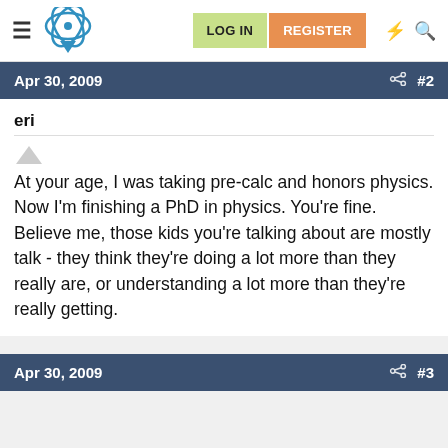[Figure (screenshot): Website navigation bar with hamburger menu, atom/brain logo, LOG IN button (green), REGISTER button (orange), lightning bolt icon, and search icon]
Apr 30, 2009   #2
eri
At your age, I was taking pre-calc and honors physics. Now I'm finishing a PhD in physics. You're fine. Believe me, those kids you're talking about are mostly talk - they think they're doing a lot more than they really are, or understanding a lot more than they're really getting.
Apr 30, 2009   #3